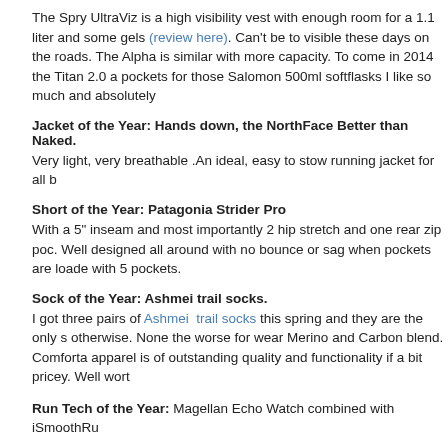The Spry UltraViz is a high visibility vest with enough room for a 1.1 liter and some gels (review here). Can't be to visible these days on the roads. The Alpha is similar with more capacity. To come in 2014 the Titan 2.0 a pockets for those Salomon 500ml softflasks I like so much and absolutely
Jacket of the Year: Hands down, the NorthFace Better than Naked.
Very light, very breathable .An ideal, easy to stow running jacket for all b
Short of the Year: Patagonia Strider Pro
With a 5" inseam and most importantly 2 hip stretch and one rear zip poc. Well designed all around with no bounce or sag when pockets are loaded with 5 pockets.
Sock of the Year: Ashmei trail socks.
I got three pairs of Ashmei trail socks this spring and they are the only s otherwise. None the worse for wear Merino and Carbon blend. Comforta apparel is of outstanding quality and functionality if a bit pricey. Well wort
Run Tech of the Year: Magellan Echo Watch combined with iSmoothRu